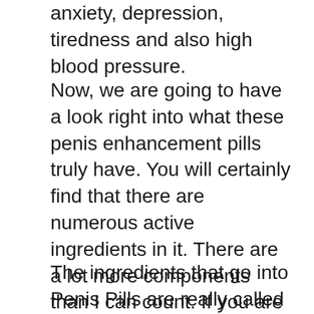anxiety, depression, tiredness and also high blood pressure.
Now, we are going to have a look right into what these penis enhancement pills truly have. You will certainly find that there are numerous active ingredients in it. There are a lot more components than I can count. If you are like me though, you do not desire as well much information simply. So, let’s look at what remains in it and also exactly how they can help you. This write-up will certainly additionally touch on Prick Tablets as well as their performance.
The ingredients that go into Penis Pills are really called “Cohosh”, “Arginine”, “ARS”, as well as “L-Arginine”. The initial one is an